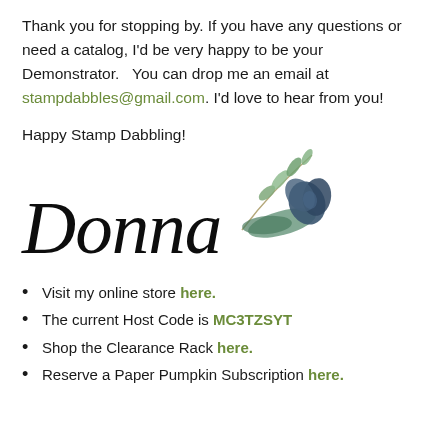Thank you for stopping by. If you have any questions or need a catalog, I'd be very happy to be your Demonstrator.   You can drop me an email at stampdabbles@gmail.com. I'd love to hear from you!
Happy Stamp Dabbling!
[Figure (illustration): Cursive signature 'Donna' in large black script font with a watercolor floral decoration featuring green leaves on a stem and a dark blue/teal flower blossom.]
Visit my online store here.
The current Host Code is MC3TZSYT
Shop the Clearance Rack here.
Reserve a Paper Pumpkin Subscription here.